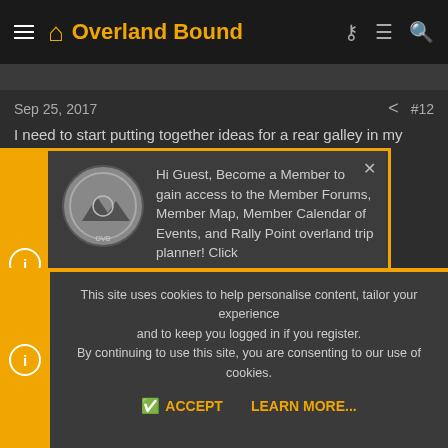Overland Bound
Sep 25, 2017  #12
I need to start putting together ideas for a rear galley in my jeep, so i'm
[Figure (screenshot): Popup dialog with Overland Bound logo coin, text: Hi Guest, Become a Member to gain access to the Member Forums, Member Map, Member Calendar of Events, and Rally Point overland trip planner! Click this link LEARN MORE for more information! With yellow border and close X button. Carousel dots below.]
This site uses cookies to help personalise content, tailor your experience and to keep you logged in if you register. By continuing to use this site, you are consenting to our use of cookies.
ACCEPT   LEARN MORE...